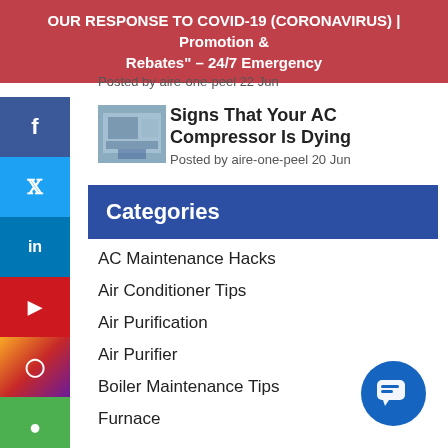OUR RESPONSE TO COVID-19 (CORONAVIRUS) | Promotion & Rebates" – 24/7 Emergency
Posted by aire-one-peel 22 Jun
Signs That Your AC Compressor Is Dying
Posted by aire-one-peel 20 Jun
Categories
AC Maintenance Hacks
Air Conditioner Tips
Air Purification
Air Purifier
Boiler Maintenance Tips
Furnace